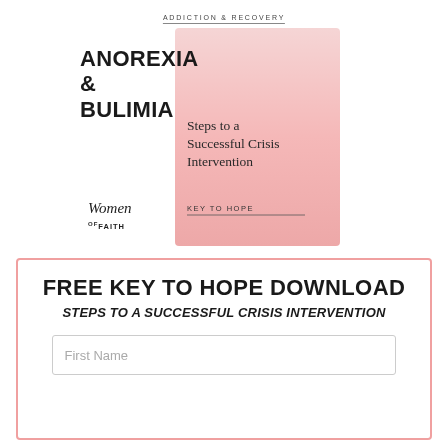ADDICTION & RECOVERY
[Figure (illustration): Book cover for 'Anorexia & Bulimia: Steps to a Successful Crisis Intervention' with a pink gradient background, Women of Faith logo, and KEY TO HOPE label]
FREE KEY TO HOPE DOWNLOAD
STEPS TO A SUCCESSFUL CRISIS INTERVENTION
First Name